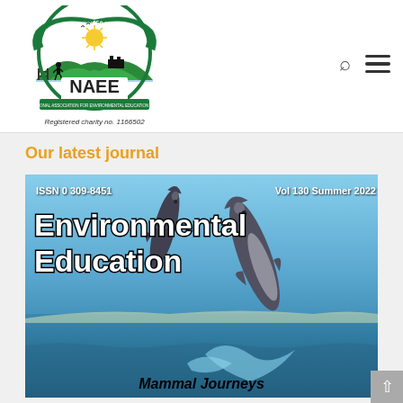[Figure (logo): NAEE - National Association for Environmental Education (UK) logo with circular emblem showing '1971 Celebrating 50 Years 2021'. Registered charity no. 1166502]
Our latest journal
[Figure (illustration): Journal cover of Environmental Education, ISSN 0 309-8451, Vol 130 Summer 2022, showing two dolphins leaping from the sea. Title reads 'Environmental Education' in bold white outlined text, subtitle 'Mammal Journeys' at the bottom.]